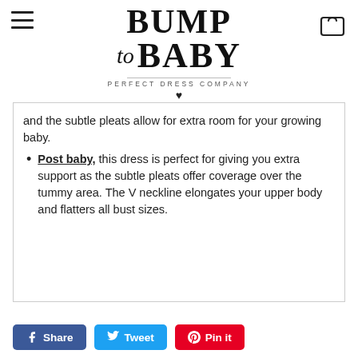BUMP to BABY — PERFECT DRESS COMPANY
and the subtle pleats allow for extra room for your growing baby.
Post baby, this dress is perfect for giving you extra support as the subtle pleats offer coverage over the tummy area. The V neckline elongates your upper body and flatters all bust sizes.
Share  Tweet  Pin it